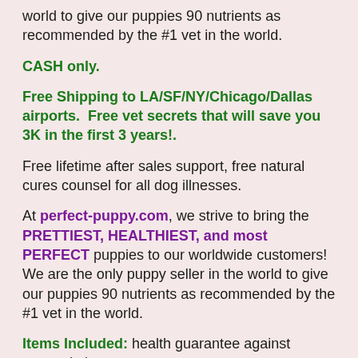world to give our puppies 90 nutrients as recommended by the #1 vet in the world.
CASH only.
Free Shipping to LA/SF/NY/Chicago/Dallas airports.  Free vet secrets that will save you 3K in the first 3 years!.
Free lifetime after sales support, free natural cures counsel for all dog illnesses.
At perfect-puppy.com, we strive to bring the PRETTIEST, HEALTHIEST, and most PERFECT puppies to our worldwide customers! We are the only puppy seller in the world to give our puppies 90 nutrients as recommended by the #1 vet in the world.
Items Included: health guarantee against congenital